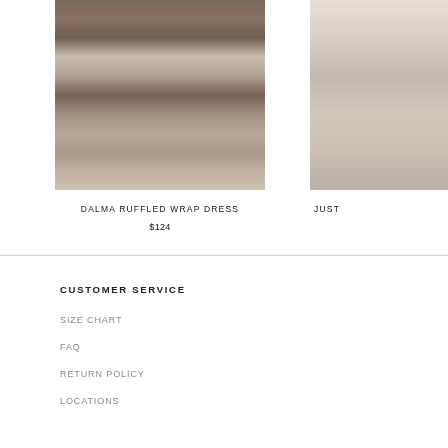[Figure (photo): Photo of a woman wearing a floral wrap dress with sandals, standing outdoors]
DALMA RUFFLED WRAP DRESS
$124
[Figure (photo): Partial photo of a person in light colored clothing, cropped on the right edge]
JUST
CUSTOMER SERVICE
SIZE CHART
FAQ
RETURN POLICY
LOCATIONS